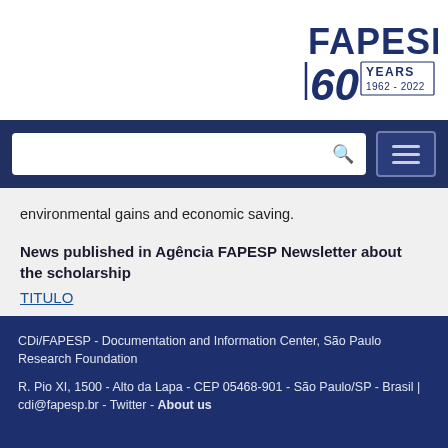[Figure (logo): FAPESP 60 Years 1962-2022 logo]
environmental gains and economic saving.
News published in Agência FAPESP Newsletter about the scholarship
TITULO
Please report errors in scientific publications list by writing to: cdi@fapesp.br.
CDi/FAPESP - Documentation and Information Center, São Paulo Research Foundation
R. Pio XI, 1500 - Alto da Lapa - CEP 05468-901 - São Paulo/SP - Brasil | cdi@fapesp.br - Twitter - About us